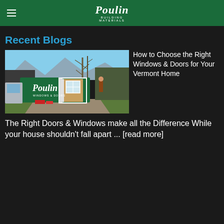Poulin Building Materials
Recent Blogs
[Figure (photo): Poulin Building Materials truck/trailer with windows and doors display, parked at a Vermont home with mountain views and bare trees in background]
How to Choose the Right Windows & Doors for Your Vermont Home
The Right Doors & Windows make all the Difference While your house shouldn't fall apart ... [read more]